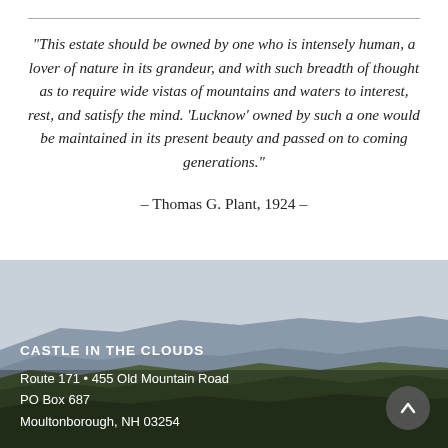“This estate should be owned by one who is intensely human, a lover of nature in its grandeur, and with such breadth of thought as to require wide vistas of mountains and waters to interest, rest, and satisfy the mind. ‘Lucknow’ owned by such a one would be maintained in its present beauty and passed on to coming generations.”
– Thomas G. Plant, 1924 –
[Figure (photo): Panoramic mountain landscape photograph showing forested hills and ridgelines under a pale sky, overlaid with white text showing Castle in the Clouds address information.]
CASTLE IN THE CLOUDS
Route 171 • 455 Old Mountain Road
PO Box 687
Moultonborough, NH 03254